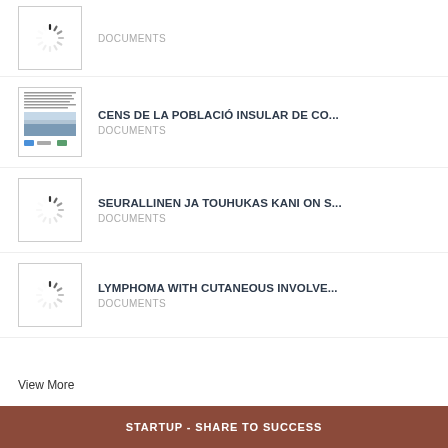[Figure (other): Loading spinner thumbnail for first document]
DOCUMENTS
[Figure (photo): Thumbnail image for CENS DE LA POBLACIÓ INSULAR DE CO... showing document cover with mountain/landscape photo]
CENS DE LA POBLACIÓ INSULAR DE CO...
DOCUMENTS
[Figure (other): Loading spinner thumbnail for SEURALLINEN JA TOUHUKAS KANI ON S...]
SEURALLINEN JA TOUHUKAS KANI ON S...
DOCUMENTS
[Figure (other): Loading spinner thumbnail for LYMPHOMA WITH CUTANEOUS INVOLVE...]
LYMPHOMA WITH CUTANEOUS INVOLVE...
DOCUMENTS
View More
STARTUP - SHARE TO SUCCESS